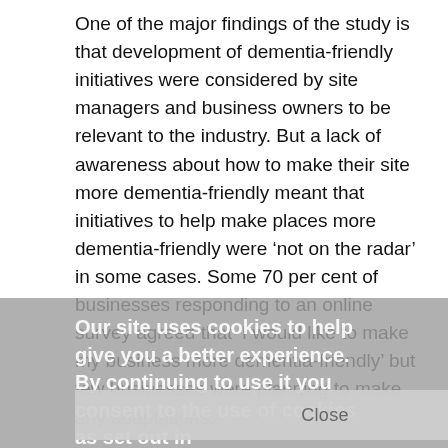One of the major findings of the study is that development of dementia-friendly initiatives were considered by site managers and business owners to be relevant to the industry. But a lack of awareness about how to make their site more dementia-friendly meant that initiatives to help make places more dementia-friendly were 'not on the radar' in some cases. Some 70 per cent of businesses responding to an online survey agreed that 'I would like to make my business more dementia-friendly' but few businesses were planning to make any adaptations.
The Prime Minister's Dementia Challenge launched in 2012, said UK businesses should become dementia-friendly by 2020. This study, by the University of Exeter Business School, Hertfordshire Business School and Plymouth Medical School, is part of a wider programme of research by the Prime Ministerial Working Group on Dementia, Air Transport and Tourism.
Dr Joanne Connell, from the University of Exeter Business School, who co-led the study said: "Low levels of dementia awareness are a major barrier to businesses taking measures...